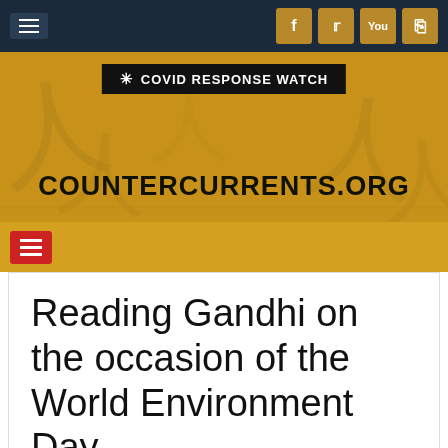[Figure (screenshot): Top navigation bar with dark blue background, hamburger menu icon on left, and four social media icons (Facebook, Twitter, YouTube, RSS) on the right in golden/brown color]
[Figure (screenshot): Website header banner with golden/amber background showing CounterCurrents.org site title and COVID Response Watch badge, with faint sketch-like figure outlines in the background]
[Figure (screenshot): Sub-navigation bar in golden/amber color with red hamburger menu button on the left]
Reading Gandhi on the occasion of the World Environment Day